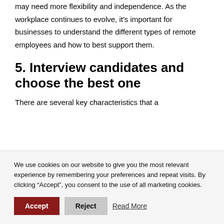may need more flexibility and independence. As the workplace continues to evolve, it's important for businesses to understand the different types of remote employees and how to best support them.
5. Interview candidates and choose the best one
There are several key characteristics that a
We use cookies on our website to give you the most relevant experience by remembering your preferences and repeat visits. By clicking “Accept”, you consent to the use of all marketing cookies.
Accept   Reject   Read More